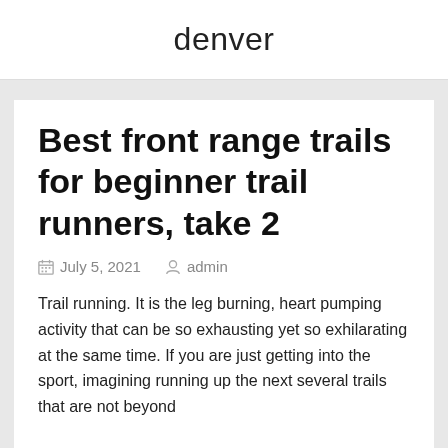denver
Best front range trails for beginner trail runners, take 2
July 5, 2021   admin
Trail running. It is the leg burning, heart pumping activity that can be so exhausting yet so exhilarating at the same time. If you are just getting into the sport, imagining running up the next several trails that are not beyond...